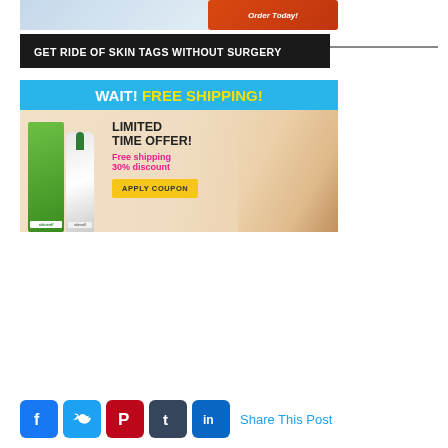[Figure (photo): Top portion of a banner ad showing a person in white coat with an 'Order Today!' red button and product bottles.]
GET RIDE OF SKIN TAGS WITHOUT SURGERY
[Figure (illustration): Promotional banner ad for Skincell product: blue header reading 'WAIT! FREE SHIPPING!', product bottle image, woman's face, 'LIMITED TIME OFFER! Free shipping 30% discount' text, and 'APPLY COUPON' yellow button.]
[Figure (infographic): Social media share bar with Facebook, Twitter, Pinterest, Tumblr, and LinkedIn icons, followed by 'Share This Post' text in blue.]